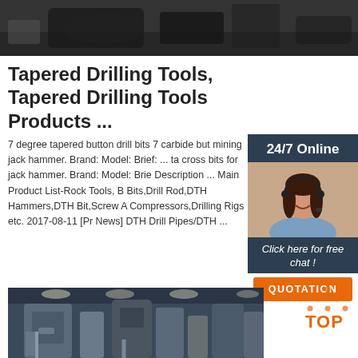[Figure (photo): Close-up photo of drilling/industrial tools, dark metallic equipment, cropped at top]
Tapered Drilling Tools, Tapered Drilling Tools Products ...
7 degree tapered button drill bits 7 carbide but mining jack hammer. Brand: Model: Brief: ... ta cross bits for jack hammer. Brand: Model: Brie Description ... Main Product List-Rock Tools, B Bits,Drill Rod,DTH Hammers,DTH Bit,Screw A Compressors,Drilling Rigs etc. 2017-08-11 [Pr News] DTH Drill Pipes/DTH ...
[Figure (photo): Woman with headset smiling - customer service representative, side chat panel]
24/7 Online
Click here for free chat !
QUOTATION
Get Price
[Figure (logo): TOP logo with orange dots triangle above text]
[Figure (photo): Industrial machinery/drilling equipment in a factory hall, bottom of page]